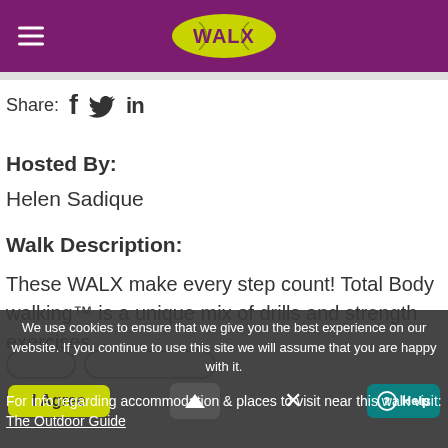[Figure (logo): WALX logo — yellow oval with purple WALX text, on purple header bar with hamburger menu icon]
Share:  f  🐦  in
Hosted By:
Helen Sadique
Walk Description:
These WALX make every step count! Total Body walking™ is a unique mix of drills and strength exercises.
We use cookies to ensure that we give you the best experience on our website. If you continue to use this site we will assume that you are happy with it.
For info regarding accommodation & places to visit near this walk visit: The Outdoor Guide